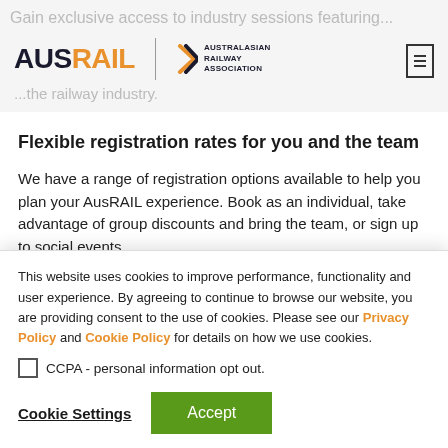AUSRAIL | Australasian Railway Association
Flexible registration rates for you and the team
We have a range of registration options available to help you plan your AusRAIL experience. Book as an individual, take advantage of group discounts and bring the team, or sign up to social events.
Informative program
This website uses cookies to improve performance, functionality and user experience. By agreeing to continue to browse our website, you are providing consent to the use of cookies. Please see our Privacy Policy and Cookie Policy for details on how we use cookies.
CCPA - personal information opt out.
Cookie Settings   Accept